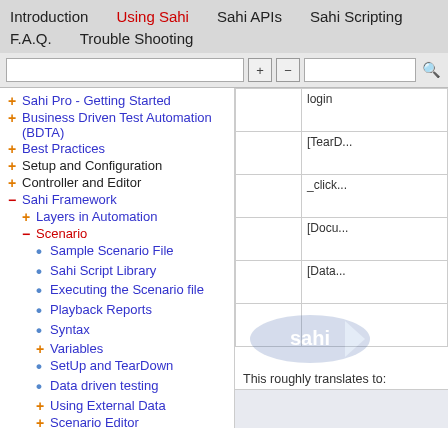Introduction | Using Sahi | Sahi APIs | Sahi Scripting | F.A.Q. | Trouble Shooting
+ Sahi Pro - Getting Started
+ Business Driven Test Automation (BDTA)
+ Best Practices
+ Setup and Configuration
+ Controller and Editor
- Sahi Framework
+ Layers in Automation
- Scenario
• Sample Scenario File
• Sahi Script Library
• Executing the Scenario file
• Playback Reports
• Syntax
+ Variables
• SetUp and TearDown
• Data driven testing
+ Using External Data
+ Scenario Editor
+ Scenario with Java
+ Sahi Suites
|  |  |
| --- | --- |
|  | login |
|  | [TearD... |
|  | _click... |
|  | [Docu... |
|  | [Data... |
|  |  |
|  |  |
This roughly translates to: